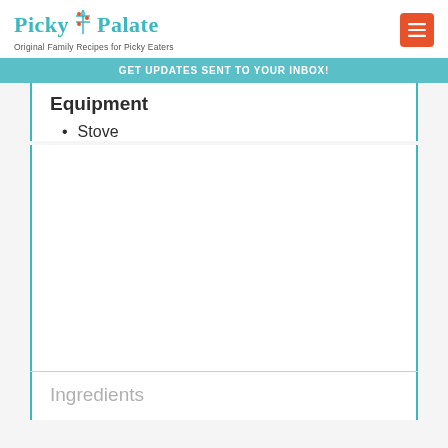Picky Palate — Original Family Recipes for Picky Eaters
GET UPDATES SENT TO YOUR INBOX!
Equipment
Stove
Ingredients